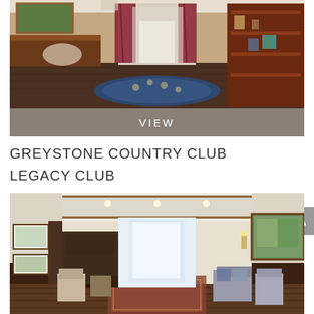[Figure (photo): Interior of Greystone Country Club lobby/reception area showing dark wood floors, a decorative blue and cream floral area rug, red curtains in the background, mahogany reception desk on the left, and a dark wood display cabinet on the right with items on shelves. An oval logo is visible on the desk. A VIEW button overlay appears at the bottom of the image.]
GREYSTONE COUNTRY CLUB
LEGACY CLUB
[Figure (photo): Interior hallway/lounge of a country club with cream walls, dark wood wainscoting and coffered ceiling trim, framed artwork on the left wall, a landscape painting on the right, chairs and sofas arranged along the sides, and a bright windowed entrance at the far end with a decorative runner rug on the hardwood floor.]